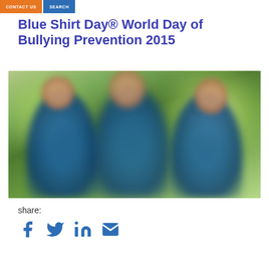CONTACT US   SEARCH
Blue Shirt Day® World Day of Bullying Prevention 2015
[Figure (photo): Blurred photo of three people wearing blue shirts outdoors with green bokeh background]
share:
[Figure (infographic): Social share icons: Facebook, Twitter, LinkedIn, Email]